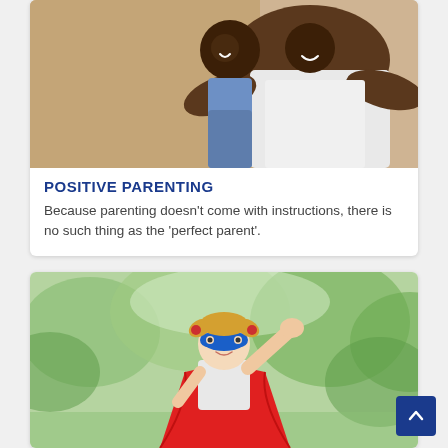[Figure (photo): Family photo: a parent and child hugging and smiling, warm background]
POSITIVE PARENTING
Because parenting doesn't come with instructions, there is no such thing as the 'perfect parent'.
[Figure (photo): Child dressed as a superhero in a red cape and blue mask, raising fist in the air outdoors]